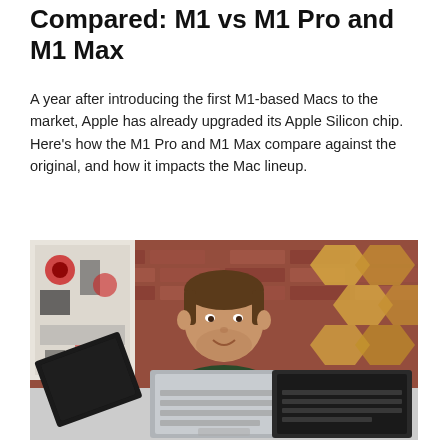Compared: M1 vs M1 Pro and M1 Max
A year after introducing the first M1-based Macs to the market, Apple has already upgraded its Apple Silicon chip. Here's how the M1 Pro and M1 Max compare against the original, and how it impacts the Mac lineup.
[Figure (photo): A person sitting behind three open laptops (MacBooks) spread in a fan arrangement on a table, against a brick wall background with decorative hexagonal wood panels and a patterned poster.]